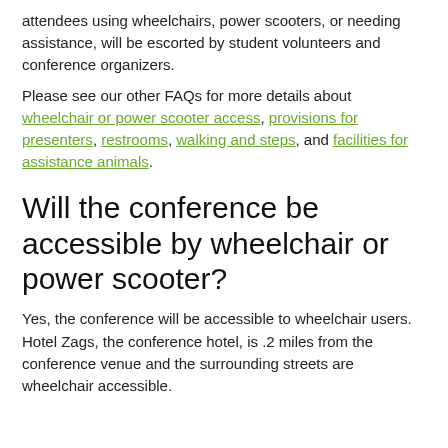attendees using wheelchairs, power scooters, or needing assistance, will be escorted by student volunteers and conference organizers.
Please see our other FAQs for more details about wheelchair or power scooter access, provisions for presenters, restrooms, walking and steps, and facilities for assistance animals.
Will the conference be accessible by wheelchair or power scooter?
Yes, the conference will be accessible to wheelchair users. Hotel Zags, the conference hotel, is .2 miles from the conference venue and the surrounding streets are wheelchair accessible.